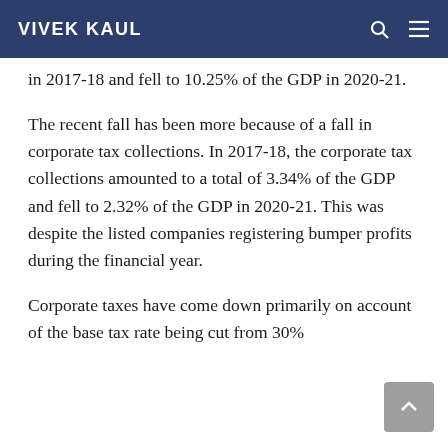VIVEK KAUL
in 2017-18 and fell to 10.25% of the GDP in 2020-21.
The recent fall has been more because of a fall in corporate tax collections. In 2017-18, the corporate tax collections amounted to a total of 3.34% of the GDP and fell to 2.32% of the GDP in 2020-21. This was despite the listed companies registering bumper profits during the financial year.
Corporate taxes have come down primarily on account of the base tax rate being cut from 30%